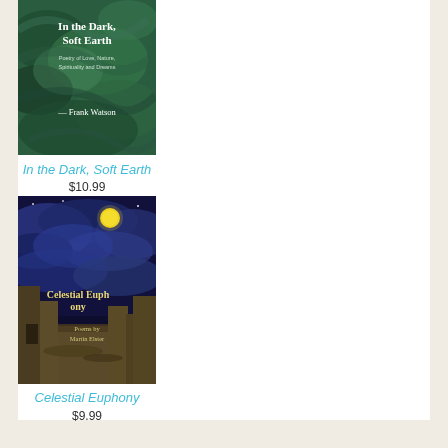[Figure (illustration): Book cover for 'In the Dark, Soft Earth' by Frank Watson. Dark green impressionistic swirling background with white text reading 'In the Dark, Soft Earth' and subtitle 'Poetry of Love, Nature, Spirituality and Dreams' and author name 'Frank Watson'.]
In the Dark, Soft Earth
$10.99
[Figure (illustration): Book cover for 'Celestial Euphony' - Poems by Martin Elster. Dark night sky with dramatic clouds, yellow full moon, and stone ruins in the foreground. Title in white/gold text.]
Celestial Euphony
$9.99